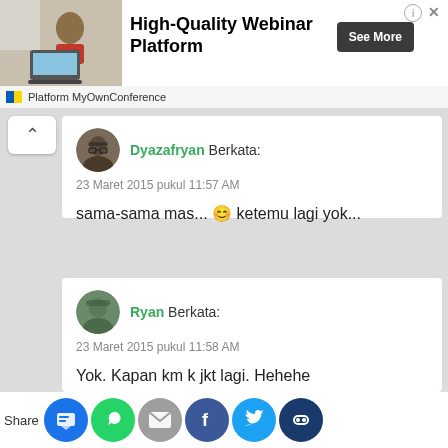[Figure (screenshot): Advertisement banner for High-Quality Webinar Platform by MyOwnConference with an image of a person at a laptop, a See More button, and info/close icons.]
Dyazafryan Berkata:
23 Maret 2015 pukul 11:57 AM
sama-sama mas... 😊 ketemu lagi yok...
Ryan Berkata:
23 Maret 2015 pukul 11:58 AM
Yok. Kapan km k jkt lagi. Hehehe
Share